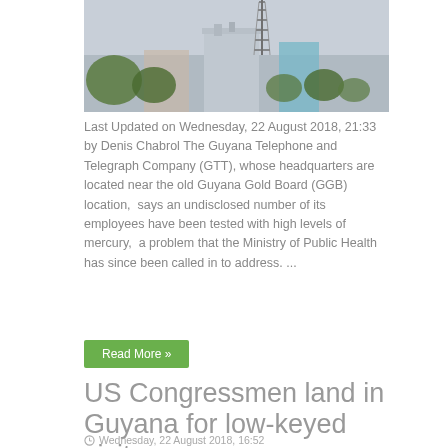[Figure (photo): Photograph showing a telecommunications tower and buildings with trees in the foreground against a hazy sky]
Last Updated on Wednesday, 22 August 2018, 21:33 by Denis Chabrol The Guyana Telephone and Telegraph Company (GTT), whose headquarters are located near the old Guyana Gold Board (GGB) location,  says an undisclosed number of its employees have been tested with high levels of mercury,  a problem that the Ministry of Public Health has since been called in to address. ...
Read More »
US Congressmen land in Guyana for low-keyed visit
Wednesday, 22 August 2018, 16:52